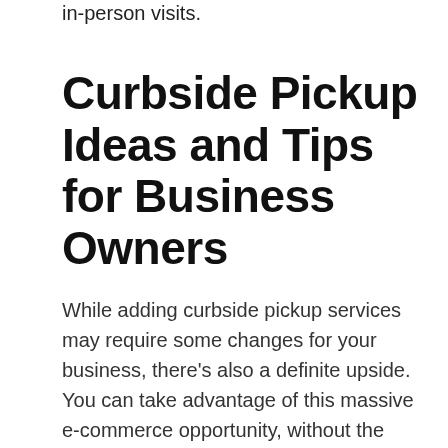in-person visits.
Curbside Pickup Ideas and Tips for Business Owners
While adding curbside pickup services may require some changes for your business, there's also a definite upside. You can take advantage of this massive e-commerce opportunity, without the shipping costs that often make online sales a loss leader.